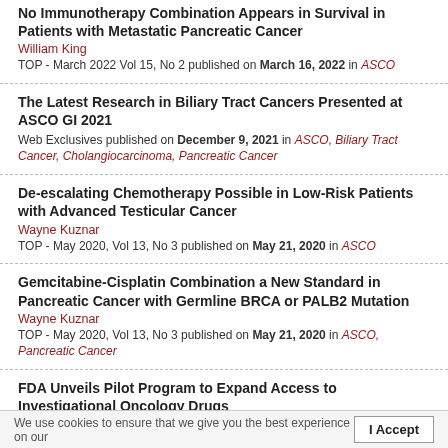No Immunotherapy Combination Appears in Survival in Patients with Metastatic Pancreatic Cancer
William King
TOP - March 2022 Vol 15, No 2 published on March 16, 2022 in ASCO
The Latest Research in Biliary Tract Cancers Presented at ASCO GI 2021
Web Exclusives published on December 9, 2021 in ASCO, Biliary Tract Cancer, Cholangiocarcinoma, Pancreatic Cancer
De-escalating Chemotherapy Possible in Low-Risk Patients with Advanced Testicular Cancer
Wayne Kuznar
TOP - May 2020, Vol 13, No 3 published on May 21, 2020 in ASCO
Gemcitabine-Cisplatin Combination a New Standard in Pancreatic Cancer with Germline BRCA or PALB2 Mutation
Wayne Kuznar
TOP - May 2020, Vol 13, No 3 published on May 21, 2020 in ASCO, Pancreatic Cancer
FDA Unveils Pilot Program to Expand Access to Investigational Oncology Drugs
Phoebe Starr
TOP - August 2019, Vol 12, No 3 published on July 29, 2019 in ASCO
Studies Show ACA Reduces Disparities and Increases…
We use cookies to ensure that we give you the best experience on our